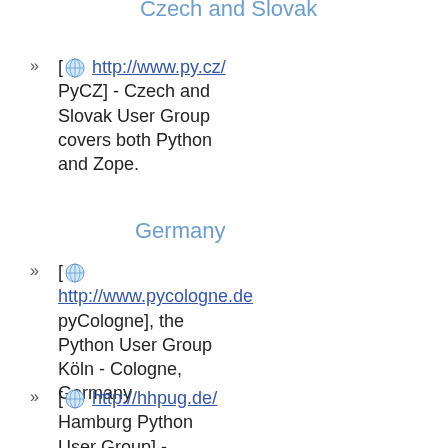Czech and Slovak
[ http://www.py.cz/ PyCZ] - Czech and Slovak User Group covers both Python and Zope.
Germany
[ http://www.pycologne.de pyCologne], the Python User Group Köln - Cologne, Germany
[ http://hhpug.de/ Hamburg Python User Group] - Hamburg, Germany
[ http://www.python-